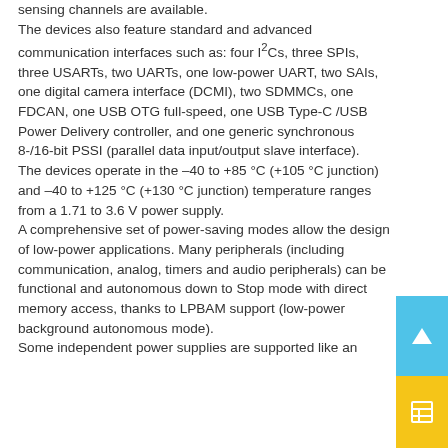sensing channels are available.
The devices also feature standard and advanced communication interfaces such as: four I2Cs, three SPIs, three USARTs, two UARTs, one low-power UART, two SAIs, one digital camera interface (DCMI), two SDMMCs, one FDCAN, one USB OTG full-speed, one USB Type-C /USB Power Delivery controller, and one generic synchronous 8-/16-bit PSSI (parallel data input/output slave interface).
The devices operate in the –40 to +85 °C (+105 °C junction) and –40 to +125 °C (+130 °C junction) temperature ranges from a 1.71 to 3.6 V power supply.
A comprehensive set of power-saving modes allow the design of low-power applications. Many peripherals (including communication, analog, timers and audio peripherals) can be functional and autonomous down to Stop mode with direct memory access, thanks to LPBAM support (low-power background autonomous mode).
Some independent power supplies are supported like an